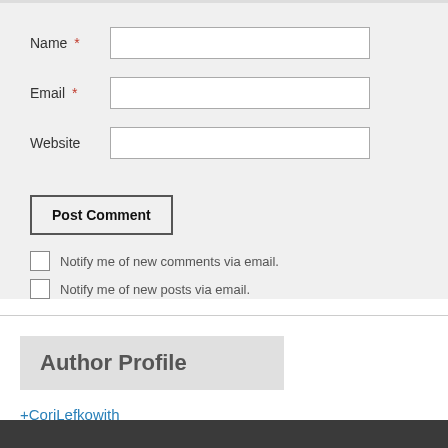Name *
Email *
Website
Post Comment
Notify me of new comments via email.
Notify me of new posts via email.
Author Profile
+CoriLefkowith